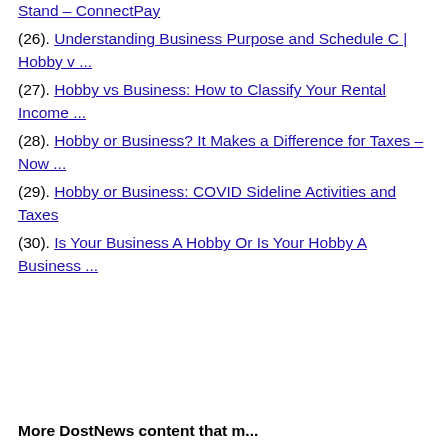Stand – ConnectPay
(26). Understanding Business Purpose and Schedule C | Hobby v ...
(27). Hobby vs Business: How to Classify Your Rental Income ...
(28). Hobby or Business? It Makes a Difference for Taxes – Now ...
(29). Hobby or Business: COVID Sideline Activities and Taxes
(30). Is Your Business A Hobby Or Is Your Hobby A Business ...
More DostNews content that m...